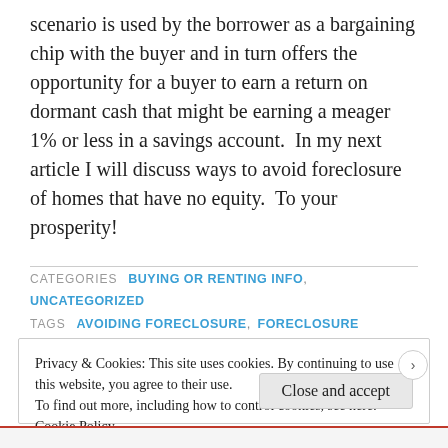scenario is used by the borrower as a bargaining chip with the buyer and in turn offers the opportunity for a buyer to earn a return on dormant cash that might be earning a meager 1% or less in a savings account.  In my next article I will discuss ways to avoid foreclosure of homes that have no equity.  To your prosperity!
CATEGORIES  BUYING OR RENTING INFO,  UNCATEGORIZED
TAGS  AVOIDING FORECLOSURE,  FORECLOSURE ALTERNATIVES,  FORECLOSURE ASSISTANCE
Privacy & Cookies: This site uses cookies. By continuing to use this website, you agree to their use.
To find out more, including how to control cookies, see here:
Cookie Policy